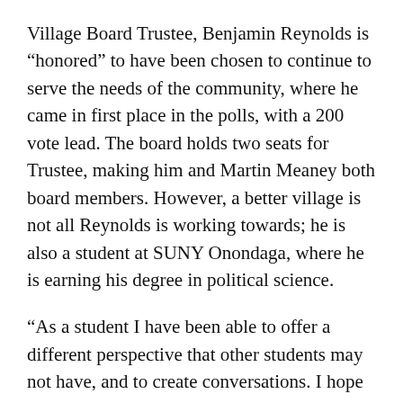Village Board Trustee, Benjamin Reynolds is “honored” to have been chosen to continue to serve the needs of the community, where he came in first place in the polls, with a 200 vote lead. The board holds two seats for Trustee, making him and Martin Meaney both board members. However, a better village is not all Reynolds is working towards; he is also a student at SUNY Onondaga, where he is earning his degree in political science.
“As a student I have been able to offer a different perspective that other students may not have, and to create conversations. I hope to encourage other people my age to get involved.”
As a student, Reynolds realizes he is unique in that